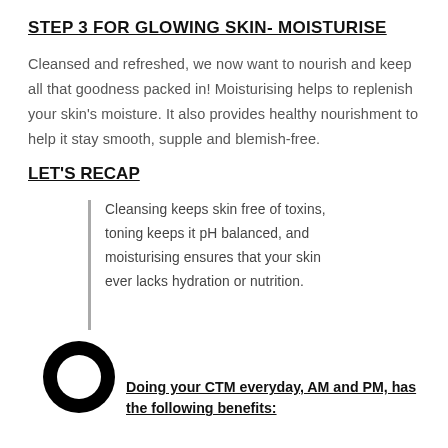STEP 3 FOR GLOWING SKIN- MOISTURISE
Cleansed and refreshed, we now want to nourish and keep all that goodness packed in! Moisturising helps to replenish your skin’s moisture. It also provides healthy nourishment to help it stay smooth, supple and blemish-free.
LET'S RECAP
Cleansing keeps skin free of toxins, toning keeps it pH balanced, and moisturising ensures that your skin ever lacks hydration or nutrition.
[Figure (illustration): A black circular ring/donut icon (logo or decorative element)]
Doing your CTM everyday, AM and PM, has the following benefits: